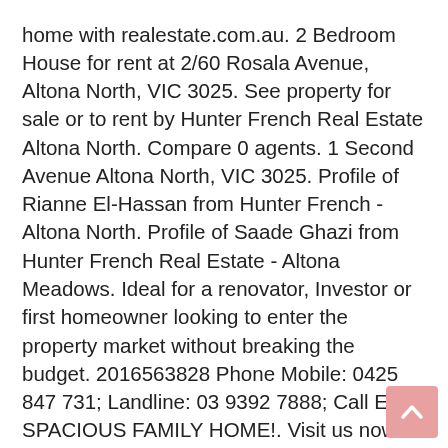home with realestate.com.au. 2 Bedroom House for rent at 2/60 Rosala Avenue, Altona North, VIC 3025. See property for sale or to rent by Hunter French Real Estate Altona North. Compare 0 agents. 1 Second Avenue Altona North, VIC 3025. Profile of Rianne El-Hassan from Hunter French - Altona North. Profile of Saade Ghazi from Hunter French Real Estate - Altona Meadows. Ideal for a renovator, Investor or first homeowner looking to enter the property market without breaking the budget. 2016563828 Phone Mobile: 0425 847 731; Landline: 03 9392 7888; Call Email SPACIOUS FAMILY HOME!. Visit us now for more details. Compare 0 agents. View property photos, floor plans, local school catchments, nearby properties and more on Homes.com.au. Altona Meadows Office; Altona North Office; Property Appraisal; Receive our newsletter; RENT. Very honest. View Karl El-Hassan's real estate for sale, rentals, and sold properties. $310 per week. Log in. Your Local real estate agent Tassie El-Hassan JP from 21 Borrack Square, Altona
[Figure (other): Scroll-to-top button (arrow up icon) with pink/salmon background, positioned at bottom-right corner of the page]